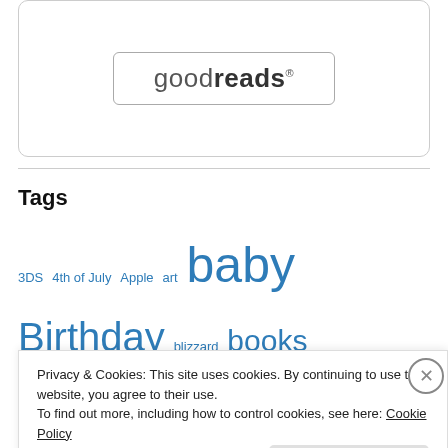[Figure (logo): Goodreads logo inside a rounded rectangle button/box]
Tags
3DS 4th of July Apple art baby Birthday blizzard books Christmas Civilization Commentary crafts Diablo 3 E3 Easter education entertainment Father's Day Field Trip
Privacy & Cookies: This site uses cookies. By continuing to use this website, you agree to their use. To find out more, including how to control cookies, see here: Cookie Policy
Close and accept